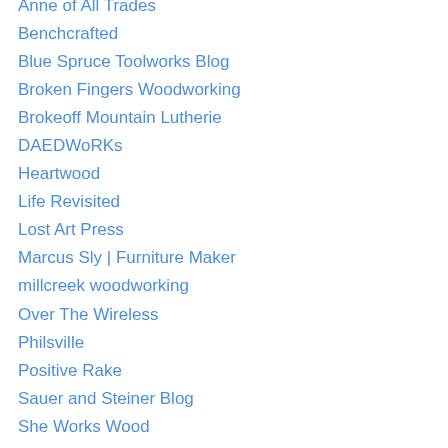Anne of All Trades
Benchcrafted
Blue Spruce Toolworks Blog
Broken Fingers Woodworking
Brokeoff Mountain Lutherie
DAEDWoRKs
Heartwood
Life Revisited
Lost Art Press
Marcus Sly | Furniture Maker
millcreek woodworking
Over The Wireless
Philsville
Positive Rake
Sauer and Steiner Blog
She Works Wood
The Bench Blog
The Bois Shop
The Joiner's Apprentice
The Part Time Woodworker